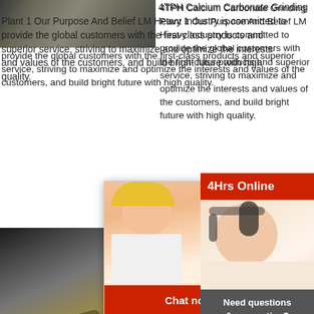[Figure (photo): Industrial/machinery photo in top left corner]
4TPH Calcium Carbonate Grinding Plant 1 Our Purpose And Belief LM Heavy Industry is committed to provide the global customers with the first-class products and superior service, striving to maximize and optimize the interests and values of the customers, and build bright future with high quality.
[Figure (photo): Construction machinery / excavator photo on bottom left]
[Figure (screenshot): Live chat popup overlay with people in hard hats, LIVE CHAT title in red italic, Click for a Free Consultation subtitle, Chat now and Chat later buttons]
[Figure (photo): Right sidebar with customer service agent with headset, 4Hrs Online banner, Need questions & suggestion panel, Chat Now button, Enquiry link, limingjlmofen link]
Airborne Du!
at least 50% calc and various impurities. A common im-purity is mag carbonate; when present in less than 5%, the lime to as high-calcium. A lime-stone containing 30-45% carbonate is classified as dolomitic stone. Table I of typical limestones of both types. Quicklime (Ca